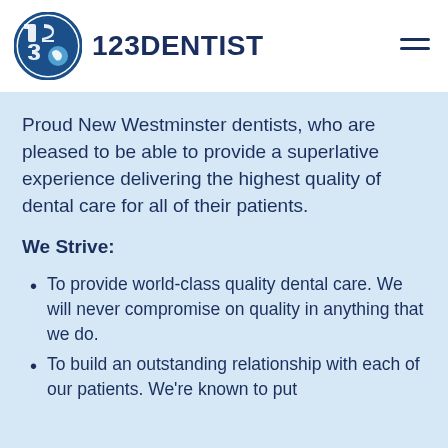[Figure (logo): 123Dentist logo with circular puzzle-piece blue/navy design and brand name '123DENTIST']
Proud New Westminster dentists, who are pleased to be able to provide a superlative experience delivering the highest quality of dental care for all of their patients.
We Strive:
To provide world-class quality dental care. We will never compromise on quality in anything that we do.
To build an outstanding relationship with each of our patients. We're known to put